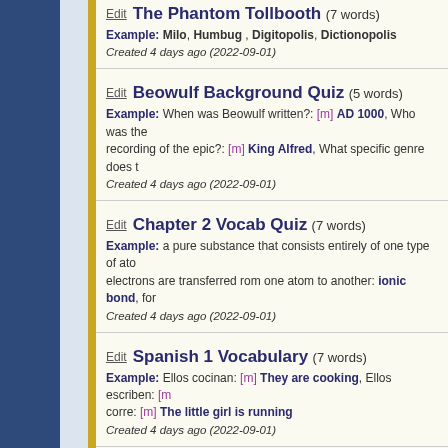The Phantom Tollbooth (7 words) — Example: Milo, Humbug, Digitopolis, Dictionopolis — Created 4 days ago (2022-09-01)
Beowulf Background Quiz (5 words) — Example: When was Beowulf written?: [m] AD 1000, Who was the recording of the epic?: [m] King Alfred, What specific genre does t... — Created 4 days ago (2022-09-01)
Chapter 2 Vocab Quiz (7 words) — Example: a pure substance that consists entirely of one type of at..., electrons are transferred rom one atom to another: ionic bond, for... — Created 4 days ago (2022-09-01)
Spanish 1 Vocabulary (7 words) — Example: Ellos cocinan: [m] They are cooking, Ellos escriben: [m]..., corre: [m] The little girl is running — Created 4 days ago (2022-09-01)
Word List for quiz sheet (7 words) — Example: Hola': [m] Hello, Adiós: [m] Good Bye, El niño bebe: [m]... — Created 4 days ago (2022-09-01)